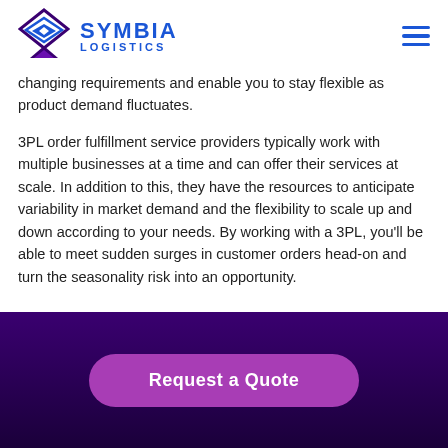SYMBIA LOGISTICS
changing requirements and enable you to stay flexible as product demand fluctuates.
3PL order fulfillment service providers typically work with multiple businesses at a time and can offer their services at scale. In addition to this, they have the resources to anticipate variability in market demand and the flexibility to scale up and down according to your needs. By working with a 3PL, you'll be able to meet sudden surges in customer orders head-on and turn the seasonality risk into an opportunity.
[Figure (other): Request a Quote button on dark purple footer background]
Request a Quote